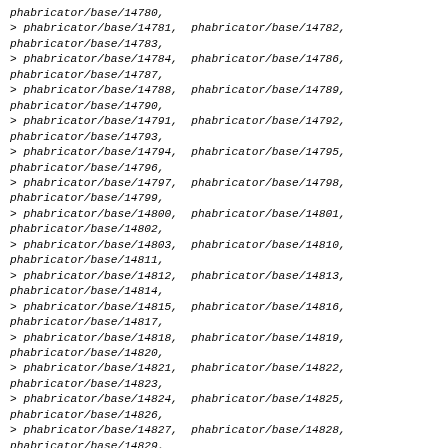phabricator/base/14780,
> phabricator/base/14781, phabricator/base/14782,
phabricator/base/14783,
> phabricator/base/14784, phabricator/base/14786,
phabricator/base/14787,
> phabricator/base/14788, phabricator/base/14789,
phabricator/base/14790,
> phabricator/base/14791, phabricator/base/14792,
phabricator/base/14793,
> phabricator/base/14794, phabricator/base/14795,
phabricator/base/14796,
> phabricator/base/14797, phabricator/base/14798,
phabricator/base/14799,
> phabricator/base/14800, phabricator/base/14801,
phabricator/base/14802,
> phabricator/base/14803, phabricator/base/14810,
phabricator/base/14811,
> phabricator/base/14812, phabricator/base/14813,
phabricator/base/14814,
> phabricator/base/14815, phabricator/base/14816,
phabricator/base/14817,
> phabricator/base/14818, phabricator/base/14819,
phabricator/base/14820,
> phabricator/base/14821, phabricator/base/14822,
phabricator/base/14823,
> phabricator/base/14824, phabricator/base/14825,
phabricator/base/14826,
> phabricator/base/14827, phabricator/base/14828,
phabricator/base/14829,
> phabricator/base/14834, phabricator/base/14835,